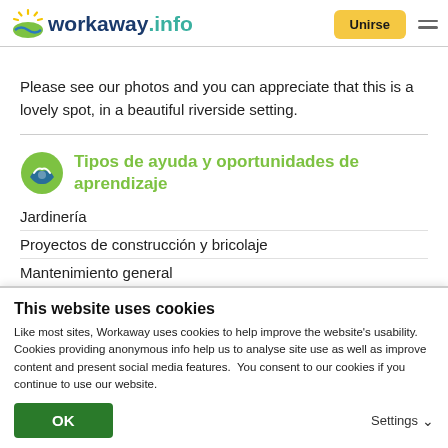workaway.info — Unirse
Please see our photos and you can appreciate that this is a lovely spot, in a beautiful riverside setting.
Tipos de ayuda y oportunidades de aprendizaje
Jardinería
Proyectos de construcción y bricolaje
Mantenimiento general
This website uses cookies
Like most sites, Workaway uses cookies to help improve the website's usability. Cookies providing anonymous info help us to analyse site use as well as improve content and present social media features.  You consent to our cookies if you continue to use our website.
OK
Settings